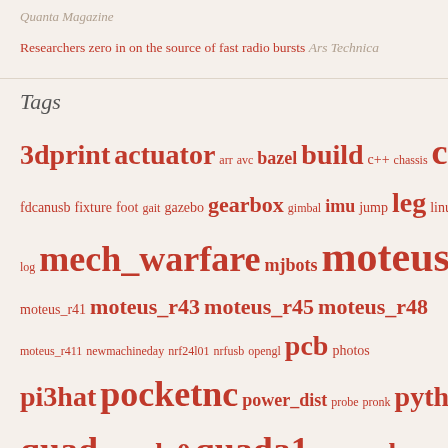Quanta Magazine
Researchers zero in on the source of fast radio bursts Ars Technica
Tags
3dprint actuator arr avc bazel build c++ chassis cnc control diagnostics discord dynamics encoder fdcan fdcanusb fixture foot gait gazebo gearbox gimbal imu jump leg linux log mech_warfare mjbots moteus moteus_r4 moteus_r41 moteus_r43 moteus_r45 moteus_r48 moteus_r411 newmachineday nrf24l01 nrfusb opengl pcb photos pi3hat pocketnc power_dist probe pronk python qdd100 quad quada0 quada1 realtime robomagellan mkband rpisavagesolder simulation servo